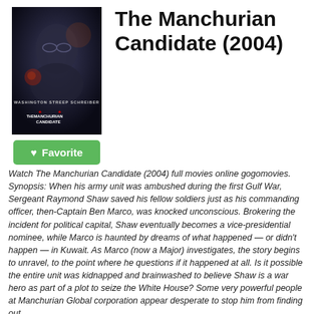[Figure (photo): Movie poster for The Manchurian Candidate (2004) showing a dark close-up face with the film title on the poster]
The Manchurian Candidate (2004)
Watch The Manchurian Candidate (2004) full movies online gogomovies. Synopsis: When his army unit was ambushed during the first Gulf War, Sergeant Raymond Shaw saved his fellow soldiers just as his commanding officer, then-Captain Ben Marco, was knocked unconscious. Brokering the incident for political capital, Shaw eventually becomes a vice-presidential nominee, while Marco is haunted by dreams of what happened — or didn't happen — in Kuwait. As Marco (now a Major) investigates, the story begins to unravel, to the point where he questions if it happened at all. Is it possible the entire unit was kidnapped and brainwashed to believe Shaw is a war hero as part of a plot to seize the White House? Some very powerful people at Manchurian Global corporation appear desperate to stop him from finding out.
Director: Jonathan Demme
Writers: Richard Condon (novel), George Axelrod | 2 more credits »
Stars: Denzel Washington, Liev Schreiber, Meryl Streep
Genres: Drama, Mystery, Sci-Fi